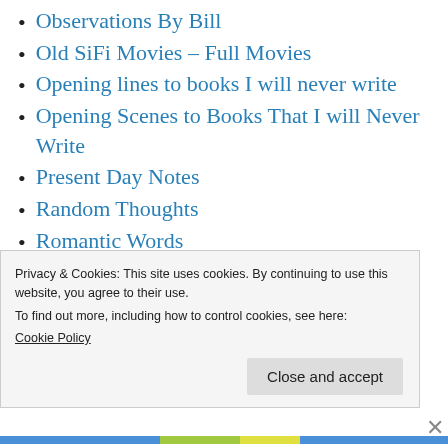Observations By Bill
Old SiFi Movies – Full Movies
Opening lines to books I will never write
Opening Scenes to Books That I will Never Write
Present Day Notes
Random Thoughts
Romantic Words
Sayings by Bill
senior
Sightseeing With Bill
Privacy & Cookies: This site uses cookies. By continuing to use this website, you agree to their use.
To find out more, including how to control cookies, see here:
Cookie Policy
Close and accept